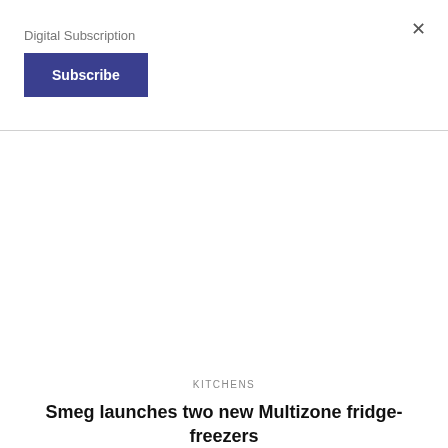Digital Subscription
Subscribe
KITCHENS
Smeg launches two new Multizone fridge-freezers